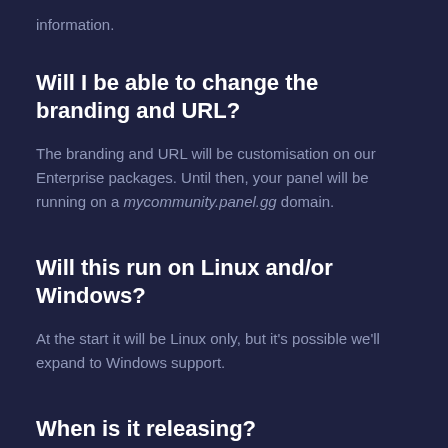information.
Will I be able to change the branding and URL?
The branding and URL will be customisation on our Enterprise packages. Until then, your panel will be running on a mycommunity.panel.gg domain.
Will this run on Linux and/or Windows?
At the start it will be Linux only, but it's possible we'll expand to Windows support.
When is it releasing?